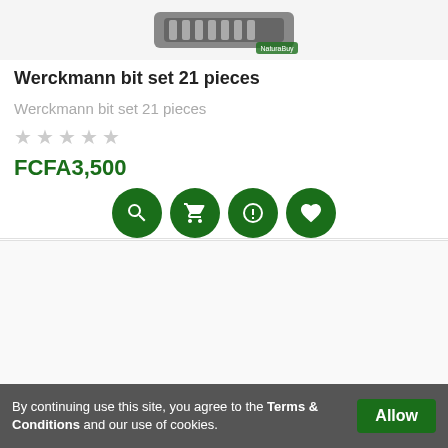[Figure (photo): Werckmann bit set product image (partial, top of card)]
Werckmann bit set 21 pieces
Werckmann bit set 21 pieces
★ ★ ★ ★ ★ (empty stars rating)
FCFA3,500
New
[Figure (photo): Werckmann bit set 21 pieces product photo showing colorful screwdriver bits in a case with a magnetic bit holder]
Werckmann bit set 21 pieces
By continuing use this site, you agree to the Terms & Conditions and our use of cookies.